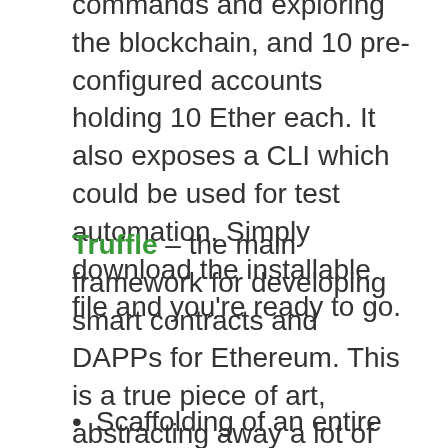commands and exploring the blockchain, and 10 pre-configured accounts holding 10 Ether each. It also exposes a CLI which could be used for test automation. Simply download the installable file and you're ready to go.
Truffle – the main framework for developing smart contracts and DAPPs for Ethereum. This is a true piece of art, abstracting away a lot of the headaches pertinent to the development, testing and deployment of smart contracts, just to name a few:
Scaffolding of an entire new